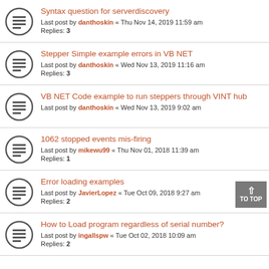Syntax question for serverdiscovery
Last post by danthoskin « Thu Nov 14, 2019 11:59 am
Replies: 3
Stepper Simple example errors in VB NET
Last post by danthoskin « Wed Nov 13, 2019 11:16 am
Replies: 3
VB NET Code example to run steppers through VINT hub
Last post by danthoskin « Wed Nov 13, 2019 9:02 am
1062 stopped events mis-firing
Last post by mikewu99 « Thu Nov 01, 2018 11:39 am
Replies: 1
Error loading examples
Last post by JavierLopez « Tue Oct 09, 2018 9:27 am
Replies: 2
How to Load program regardless of serial number?
Last post by ingallspw « Tue Oct 02, 2018 10:09 am
Replies: 2